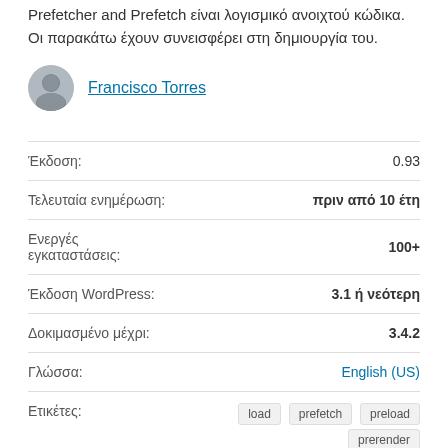Prefetcher and Prefetch είναι λογισμικό ανοιχτού κώδικα. Οι παρακάτω έχουν συνεισφέρει στη δημιουργία του.
Francisco Torres
| Label | Value |
| --- | --- |
| Έκδοση: | 0.93 |
| Τελευταία ενημέρωση: | πριν από 10 έτη |
| Ενεργές εγκαταστάσεις: | 100+ |
| Έκδοση WordPress: | 3.1 ή νεότερη |
| Δοκιμασμένο μέχρι: | 3.4.2 |
| Γλώσσα: | English (US) |
| Ετικέτες: | load  prefetch  preload  prerender  speed |